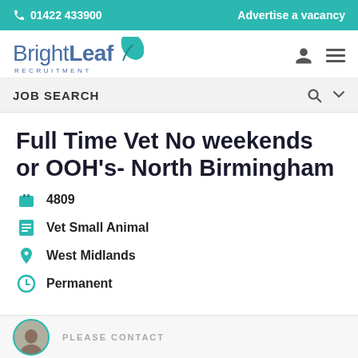📞 01422 433900   Advertise a vacancy
[Figure (logo): BrightLeaf Recruitment logo with teal leaf icon and blue text]
JOB SEARCH
Full Time Vet No weekends or OOH's- North Birmingham
4809
Vet Small Animal
West Midlands
Permanent
PLEASE CONTACT